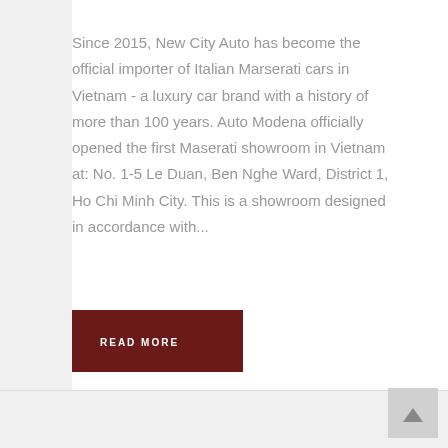Since 2015, New City Auto has become the official importer of Italian Marserati cars in Vietnam - a luxury car brand with a history of more than 100 years. Auto Modena officially opened the first Maserati showroom in Vietnam at: No. 1-5 Le Duan, Ben Nghe Ward, District 1, Ho Chi Minh City. This is a showroom designed in accordance with...
READ MORE